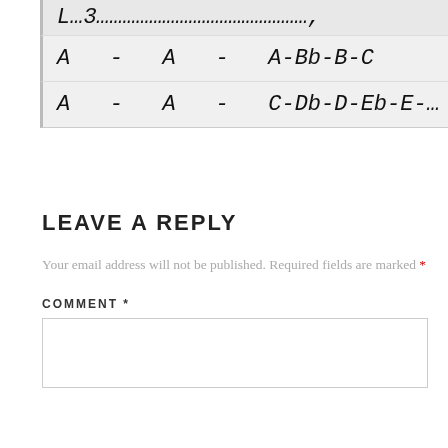| L…3…………………………………………, |
| A  -  A  -  A-Bb-B-C |
| A  -  A  -  C-Db-D-Eb-E-… |
LEAVE A REPLY
Your email address will not be published. Required fields are marked *
COMMENT *